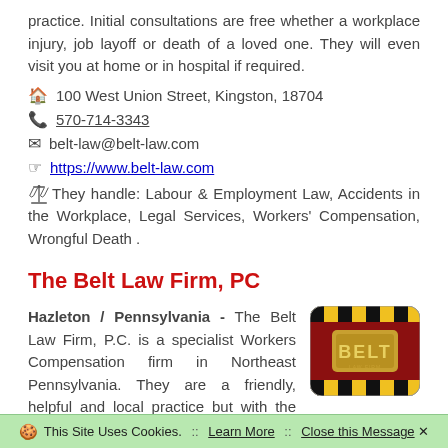practice. Initial consultations are free whether a workplace injury, job layoff or death of a loved one. They will even visit you at home or in hospital if required.
🏠 100 West Union Street, Kingston, 18704
📞 570-714-3343
✉ belt-law@belt-law.com
https://www.belt-law.com
⚖ They handle: Labour & Employment Law, Accidents in the Workplace, Legal Services, Workers' Compensation, Wrongful Death .
The Belt Law Firm, PC
Hazleton / Pennsylvania - The Belt Law Firm, P.C. is a specialist Workers Compensation firm in Northeast Pennsylvania. They are a friendly, helpful and local practice but with the experience and expertise you'd expect from a larger firm. Initial consultations are free and they will even visit you at home or in hospital if
[Figure (logo): The Belt Law Firm logo - golden belt buckle with BELT text on dark background with yellow/black hazard stripes]
🍪 This Site Uses Cookies. :: Learn More :: Close this Message ✕